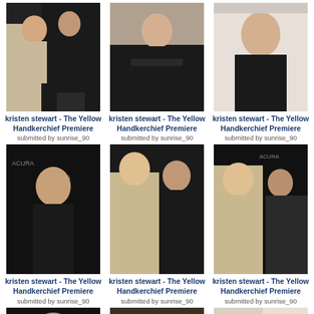[Figure (photo): Two women at premiere, one in gold dress one in black]
kristen stewart - The Yellow Handkerchief Premiere
submitted by sunrise_90
[Figure (photo): Woman in black dress at premiere]
kristen stewart - The Yellow Handkerchief Premiere
submitted by sunrise_90
[Figure (photo): Woman in black sleeveless dress]
kristen stewart - The Yellow Handkerchief Premiere
submitted by sunrise_90
[Figure (photo): Woman at Acura event backdrop in black dress]
kristen stewart - The Yellow Handkerchief Premiere
submitted by sunrise_90
[Figure (photo): Two women posing, one in gold one in black]
kristen stewart - The Yellow Handkerchief Premiere
submitted by sunrise_90
[Figure (photo): Two women at premiere, gold and black dresses]
kristen stewart - The Yellow Handkerchief Premiere
submitted by sunrise_90
[Figure (photo): Headshot of woman with dark hair at Acura event]
[Figure (photo): Woman in black at premiere]
[Figure (photo): Woman in black sleeveless dress at GEN ART event]